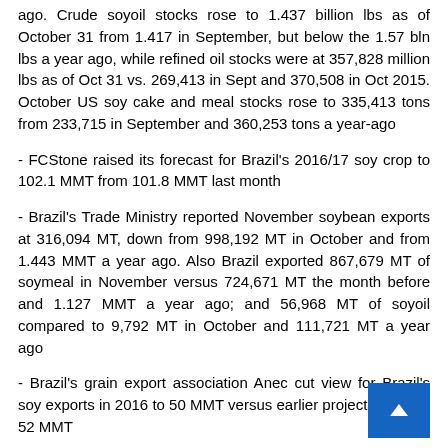ago. Crude soyoil stocks rose to 1.437 billion lbs as of October 31 from 1.417 in September, but below the 1.57 bln lbs a year ago, while refined oil stocks were at 357,828 million lbs as of Oct 31 vs. 269,413 in Sept and 370,508 in Oct 2015. October US soy cake and meal stocks rose to 335,413 tons from 233,715 in September and 360,253 tons a year-ago
- FCStone raised its forecast for Brazil's 2016/17 soy crop to 102.1 MMT from 101.8 MMT last month
- Brazil's Trade Ministry reported November soybean exports at 316,094 MT, down from 998,192 MT in October and from 1.443 MMT a year ago. Also Brazil exported 867,679 MT of soymeal in November versus 724,671 MT the month before and 1.127 MMT a year ago; and 56,968 MT of soyoil compared to 9,792 MT in October and 111,721 MT a year ago
- Brazil's grain export association Anec cut view for Brazil's soy exports in 2016 to 50 MMT versus earlier projection of 51-52 MMT
- Buenos Aires Grain Exchange expects Argentina's 2016/17 soybean acreage at 19.6 mln ha, down 2.5% from the previous crop year (20.1 mln ha in 2015/16). Exchange estimates 46% of the crop has been planted as of Dec 1 vs. 54.4% this time last year
- Buenos Aires Grain Exchange left its estimate Argentina's 2